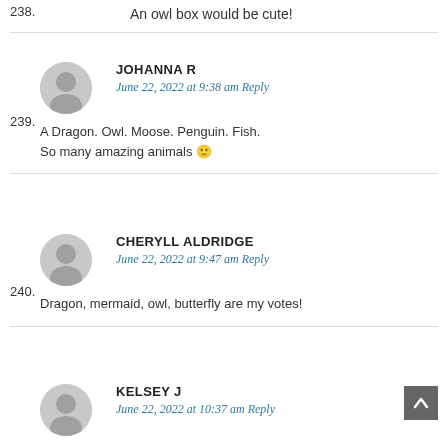238. An owl box would be cute!
239. JOHANNA R — June 22, 2022 at 9:38 am Reply — A Dragon. Owl. Moose. Penguin. Fish. So many amazing animals 🙂
240. CHERYLL ALDRIDGE — June 22, 2022 at 9:47 am Reply — Dragon, mermaid, owl, butterfly are my votes!
KELSEY J — June 22, 2022 at 10:37 am Reply